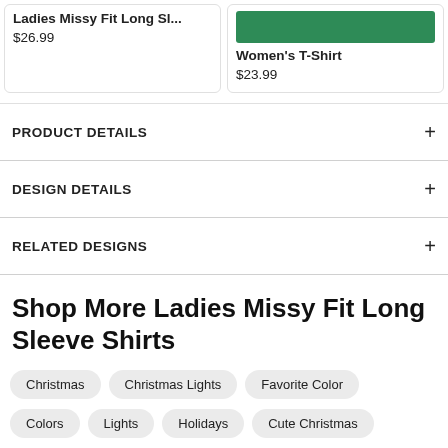Ladies Missy Fit Long Sl...
$26.99
Women's T-Shirt
$23.99
PRODUCT DETAILS
DESIGN DETAILS
RELATED DESIGNS
Shop More Ladies Missy Fit Long Sleeve Shirts
Christmas
Christmas Lights
Favorite Color
Colors
Lights
Holidays
Cute Christmas